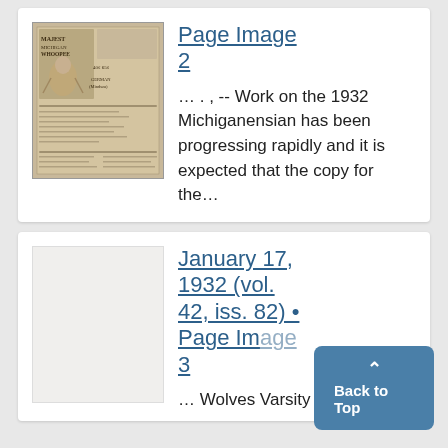[Figure (photo): Thumbnail image of a newspaper page from 1932 showing Majestic theater advertisement and Michigan Whoopee content]
Page Image 2
... , -- Work on the 1932 Michiganensian has been progressing rapidly and it is expected that the copy for the...
January 17, 1932 (vol. 42, iss. 82) • Page Image 3
... Wolves Varsity